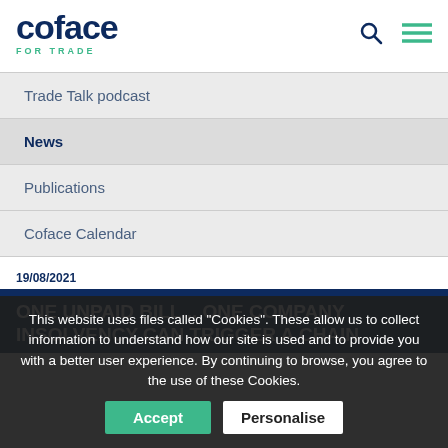[Figure (logo): Coface For Trade logo — dark blue wordmark with green subtitle]
Trade Talk podcast
News
Publications
Coface Calendar
19/08/2021
ONE UNPAID BILL... ONE COMPANY INSOLVENCY CAN TRIGGER A CHAIN
This website uses files called "Cookies". These allow us to collect information to understand how our site is used and to provide you with a better user experience. By continuing to browse, you agree to the use of these Cookies.
Accept  Personalise